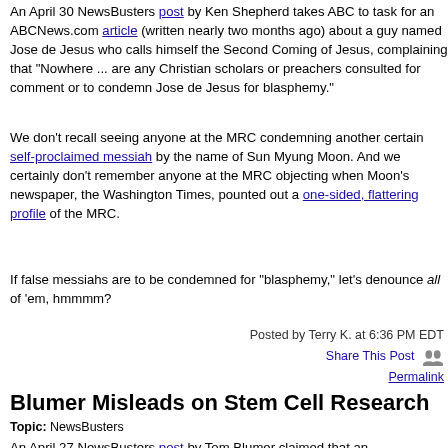An April 30 NewsBusters post by Ken Shepherd takes ABC to task for an ABCNews.com article (written nearly two months ago) about a guy named Jose de Jesus who calls himself the Second Coming of Jesus, complaining that "Nowhere ... are any Christian scholars or preachers consulted for comment or to condemn Jose de Jesus for blasphemy."
We don't recall seeing anyone at the MRC condemning another certain self-proclaimed messiah by the name of Sun Myung Moon. And we certainly don't remember anyone at the MRC objecting when Moon's newspaper, the Washington Times, pounted out a one-sided, flattering profile of the MRC.
If false messiahs are to be condemned for "blasphemy," let's denounce all of 'em, hmmmm?
Posted by Terry K. at 6:36 PM EDT
Share This Post
Permalink
Blumer Misleads on Stem Cell Research
Topic: NewsBusters
An April 27 NewsBusters post by Tom Blumer claimed that an